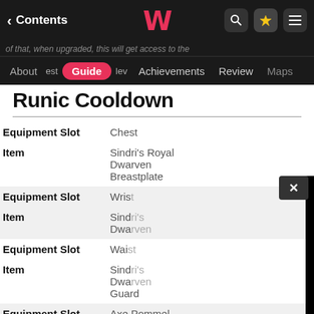Contents | Guide | Achievements | Review | Maps
Runic Cooldown
| Field | Value |
| --- | --- |
| Equipment Slot | Chest |
| Item | Sindri's Royal Dwarven Breastplate |
| Equipment Slot | Wris[t] |
| Item | Sind[ri's] Dwa[rven] |
| Equipment Slot | Wai[st] |
| Item | Sind[ri's] Dwa[rven] Guard |
| Equipment Slot | Axe Pommel |
| Item | Wing of the Fallen |